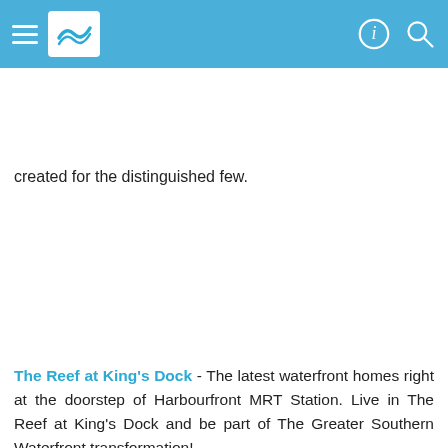≡ [logo] [info icon] [search icon]
created for the distinguished few.
The Reef at King's Dock - The latest waterfront homes right at the doorstep of Harbourfront MRT Station. Live in The Reef at King's Dock and be part of The Greater Southern Waterfront transformation!